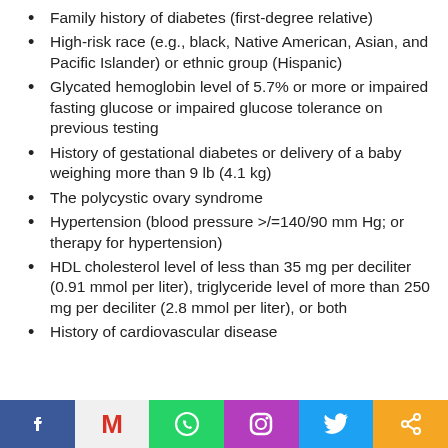Family history of diabetes (first-degree relative)
High-risk race (e.g., black, Native American, Asian, and Pacific Islander) or ethnic group (Hispanic)
Glycated hemoglobin level of 5.7% or more or impaired fasting glucose or impaired glucose tolerance on previous testing
History of gestational diabetes or delivery of a baby weighing more than 9 lb (4.1 kg)
The polycystic ovary syndrome
Hypertension (blood pressure >/=140/90 mm Hg; or therapy for hypertension)
HDL cholesterol level of less than 35 mg per deciliter (0.91 mmol per liter), triglyceride level of more than 250 mg per deciliter (2.8 mmol per liter), or both
History of cardiovascular disease